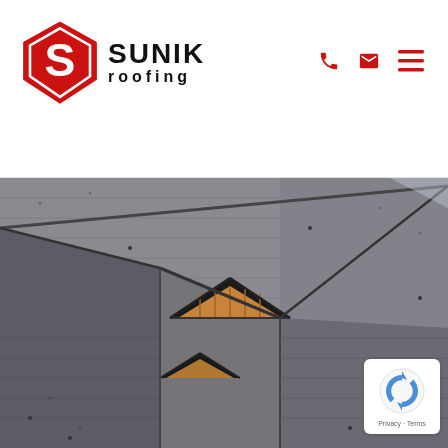[Figure (logo): Sunik Roofing logo with red diamond/shield shape containing letter S, and bold text SUNIK ROOFING]
[Figure (photo): Aerial view of a residential roof with grey asphalt shingles, showing multiple roof planes, ridges, valleys, and an open dormer/gable area with exposed wooden framing]
[Figure (other): Google reCAPTCHA badge with logo and Privacy - Terms text]